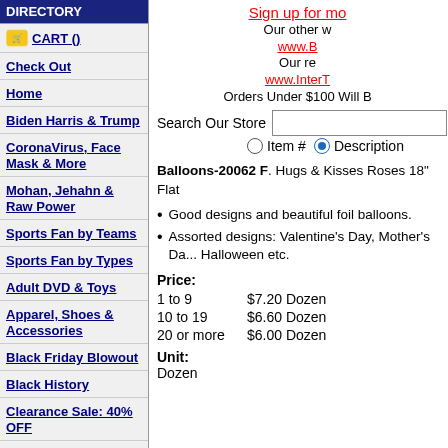DIRECTORY
CART ()
Check Out
Home
Biden Harris & Trump
CoronaVirus, Face Mask & More
Mohan, Jehahn & Raw Power
Sports Fan by Teams
Sports Fan by Types
Adult DVD & Toys
Apparel, Shoes & Accessories
Black Friday Blowout
Black History
Clearance Sale: 40% OFF
Contact Us
Sign up for mo
Our other w
www.B...
Our re...
www.InterT...
Orders Under $100 Will B...
Search Our Store
Item #  Description
Balloons-20062 F. Hugs & Kisses Roses 18" Flat...
Good designs and beautiful foil balloons.
Assorted designs: Valentine's Day, Mother's Da... Halloween etc.
Price:
1 to 9     $7.20 Dozen
10 to 19   $6.60 Dozen
20 or more  $6.00 Dozen
Unit:
Dozen